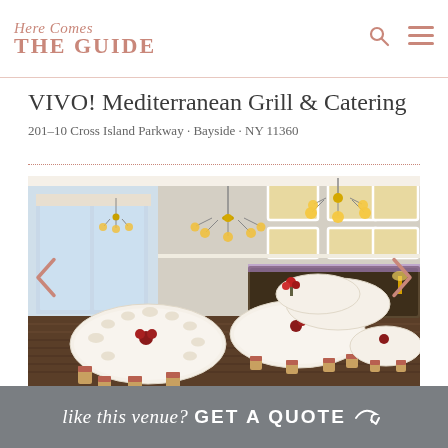Here Comes THE GUIDE
VIVO! Mediterranean Grill & Catering
201–10 Cross Island Parkway · Bayside · NY 11360
[Figure (photo): Interior of VIVO! Mediterranean Grill & Catering banquet hall showing round tables set with white linens and gold chiavari chairs, large windows on the left, chandelier lighting, and a dark wood bar area in the background.]
like this venue? GET A QUOTE